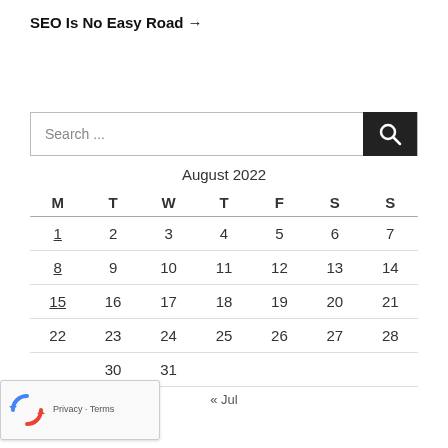SEO Is No Easy Road →
[Figure (other): Search input box with magnifying glass search button]
| M | T | W | T | F | S | S |
| --- | --- | --- | --- | --- | --- | --- |
| 1 | 2 | 3 | 4 | 5 | 6 | 7 |
| 8 | 9 | 10 | 11 | 12 | 13 | 14 |
| 15 | 16 | 17 | 18 | 19 | 20 | 21 |
| 22 | 23 | 24 | 25 | 26 | 27 | 28 |
|  | 30 | 31 |  |  |  |  |
« Jul
[Figure (logo): reCAPTCHA logo with Privacy and Terms text]